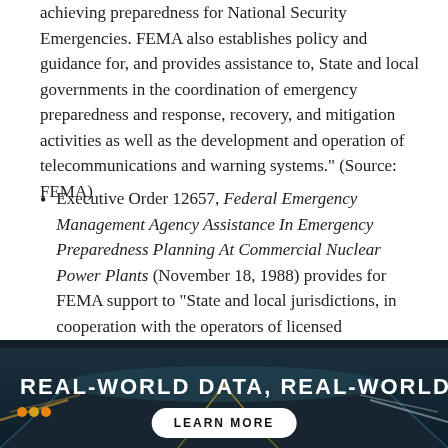achieving preparedness for National Security Emergencies. FEMA also establishes policy and guidance for, and provides assistance to, State and local governments in the coordination of emergency preparedness and response, recovery, and mitigation activities as well as the development and operation of telecommunications and warning systems." (Source: FEMA)
Executive Order 12657, Federal Emergency Management Agency Assistance In Emergency Preparedness Planning At Commercial Nuclear Power Plants (November 18, 1988) provides for FEMA support to "State and local jurisdictions, in cooperation with the operators of licensed commercial nuclear power plants, to ensure
[Figure (photo): Bottom banner with a nighttime road/highway photo background (dark teal tones with light streaks suggesting motion), traffic light dots on the left, bold white uppercase text 'REAL-WORLD DATA, REAL-WORLD IMPA' (cut off), and a white pill-shaped 'LEARN MORE' button at the bottom center.]